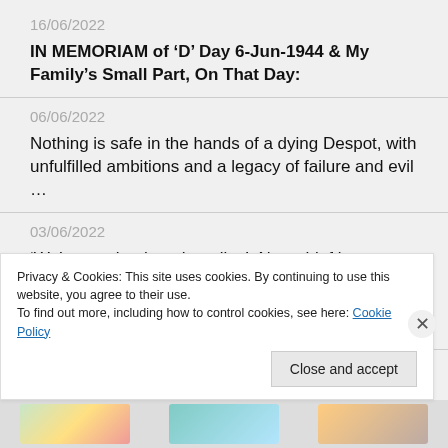16/06/2022
IN MEMORIAM of ‘D’ Day 6-Jun-1944 & My Family’s Small Part, On That Day:
06/06/2022
Nothing is safe in the hands of a dying Despot, with unfulfilled ambitions and a legacy of failure and evil …
03/06/2022
‘We’re not the thought police’: New chief inspector says forces must ‘avoid politics with the small p’ – and remember that ‘different thoughts’ are not forbidden …
16/05/2022 (truncated)
Privacy & Cookies: This site uses cookies. By continuing to use this website, you agree to their use.
To find out more, including how to control cookies, see here: Cookie Policy